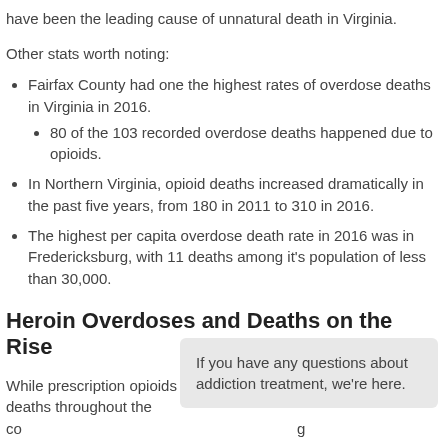have been the leading cause of unnatural death in Virginia.
Other stats worth noting:
Fairfax County had one the highest rates of overdose deaths in Virginia in 2016.
80 of the 103 recorded overdose deaths happened due to opioids.
In Northern Virginia, opioid deaths increased dramatically in the past five years, from 180 in 2011 to 310 in 2016.
The highest per capita overdose death rate in 2016 was in Fredericksburg, with 11 deaths among it's population of less than 30,000.
Heroin Overdoses and Deaths on the Rise
While prescription opioids deaths throughout the co
If you have any questions about addiction treatment, we're here.